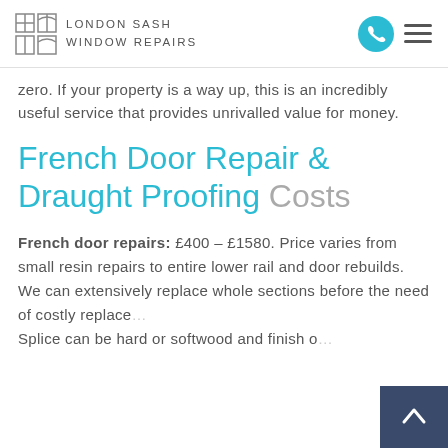LONDON SASH WINDOW REPAIRS
zero. If your property is a way up, this is an incredibly useful service that provides unrivalled value for money.
French Door Repair & Draught Proofing Costs
French door repairs: £400 – £1580. Price varies from small resin repairs to entire lower rail and door rebuilds. We can extensively replace whole sections before the need of costly replace... Splice can be hard or softwood and finish o...